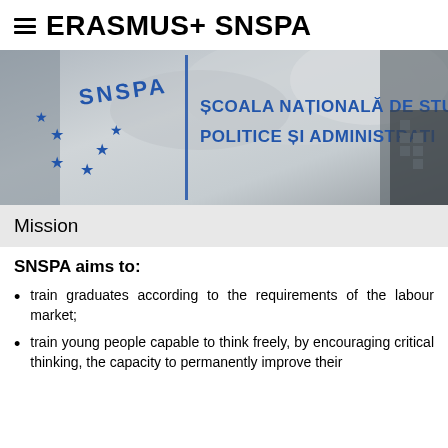≡ ERASMUS+ SNSPA
[Figure (photo): Photo of a glass wall/door with SNSPA logo (stars arranged in EU flag pattern) and text in blue: SCOALA NATIONALA DE STUDII POLITICE SI ADMINISTRATIVE]
Mission
SNSPA aims to:
train graduates according to the requirements of the labour market;
train young people capable to think freely, by encouraging critical thinking, the capacity to permanently improve their